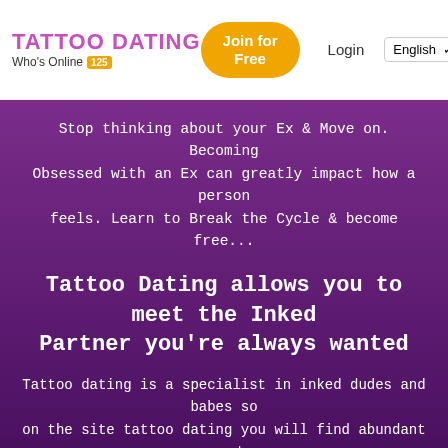TATTOO DATING | Who's Online 125 | Join for Free | Login | English
Stop thinking about your Ex & Move on. Becoming Obsessed with an Ex can greatly impact how a person feels. Learn to Break the Cycle & become free...
Tattoo Dating allows you to meet the Inked Partner you're always wanted
Tattoo dating is a specialist in inked dudes and babes so on the site tattoo dating you will find abundant amounts of beautiful tattooed girls and boys waiting to connect with you.
Dating Sites International Minnesota Beltrami Blackduck United States